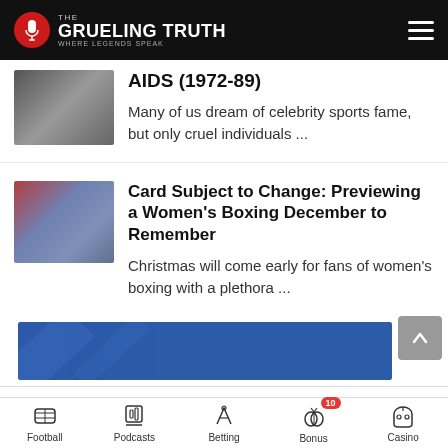The Grueling Truth — Where Legends Speak
AIDS (1972-89)
Many of us dream of celebrity sports fame, but only cruel individuals ...
Card Subject to Change: Previewing a Women's Boxing December to Remember
Christmas will come early for fans of women's boxing with a plethora ...
[Figure (other): Caesars Sportsbook advertisement banner — blue background]
Caesars Sports Bonus
100% up to $1250
Football | Podcasts | Betting | Bonus 10 | Casino